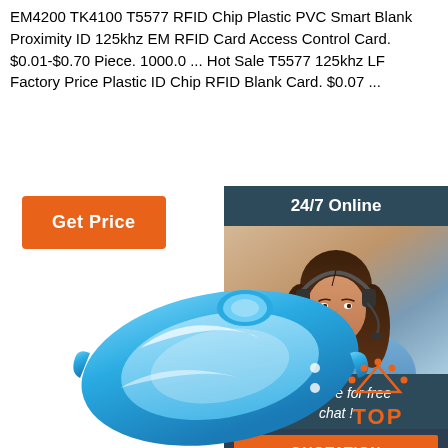EM4200 TK4100 T5577 RFID Chip Plastic PVC Smart Blank Proximity ID 125khz EM RFID Card Access Control Card. $0.01-$0.70 Piece. 1000.0 ... Hot Sale T5577 125khz LF Factory Price Plastic ID Chip RFID Blank Card. $0.07 ...
[Figure (illustration): Orange 'Get Price' button]
[Figure (illustration): 24/7 Online chat widget with photo of customer service representative (woman with headset), 'Click here for free chat!' text, and orange QUOTATION button]
[Figure (photo): Blue RFID silicone wristband with white design elements, shown in perspective]
[Figure (illustration): Orange TOP button with decorative dots forming an arch above the text]